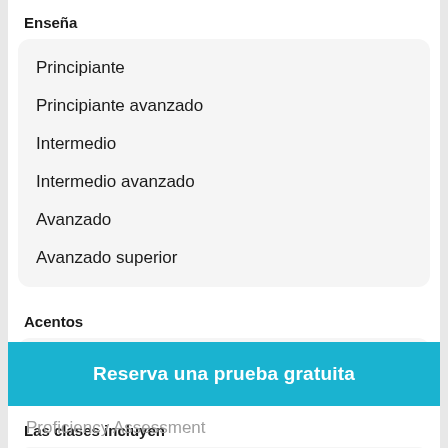Enseña
Principiante
Principiante avanzado
Intermedio
Intermedio avanzado
Avanzado
Avanzado superior
Acentos
British English
Las clases incluyen
Curriculum
Reserva una prueba gratuita
Proficiency Assessment